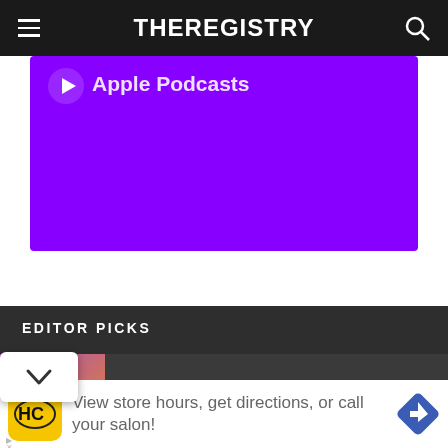THEREGISTRY
[Figure (screenshot): Purple Apple Podcasts banner button with white text and icon]
EDITOR PICKS
Lyft Shedding Lots of Space in Sign of Office Leasing Trend
[Figure (screenshot): Advertisement banner: View store hours, get directions, or call your salon! with HC logo and navigation icon]